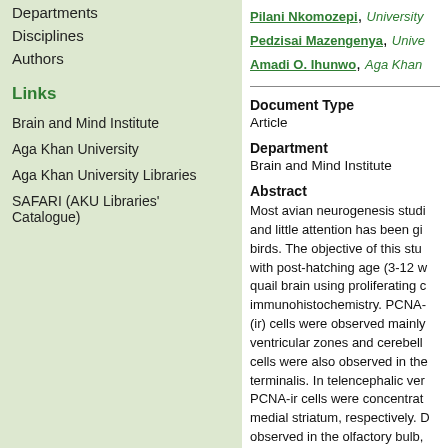Departments
Disciplines
Authors
Links
Brain and Mind Institute
Aga Khan University
Aga Khan University Libraries
SAFARI (AKU Libraries' Catalogue)
Pilani Nkomozepi, University
Pedzisai Mazengenya, Unive
Amadi O. Ihunwo, Aga Khan
Document Type
Article
Department
Brain and Mind Institute
Abstract
Most avian neurogenesis studi and little attention has been gi birds. The objective of this stu with post-hatching age (3-12 w quail brain using proliferating c immunohistochemistry. PCNA- (ir) cells were observed mainly ventricular zones and cerebell cells were also observed in the terminalis. In telencephalic ver PCNA-ir cells were concentrat medial striatum, respectively. D observed in the olfactory bulb, were scattered throughout the in the entopallium and arcopal